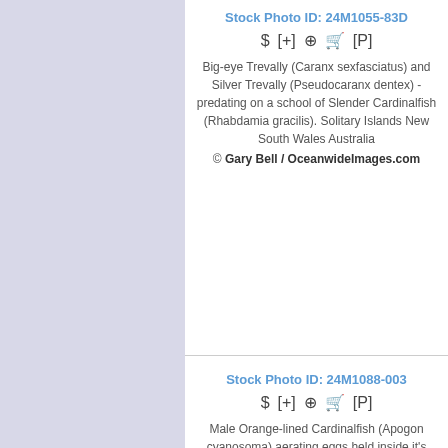Stock Photo ID: 24M1055-83D
[Figure (screenshot): Action icons: $ [+] zoom cart [P]]
Big-eye Trevally (Caranx sexfasciatus) and Silver Trevally (Pseudocaranx dentex) - predating on a school of Slender Cardinalfish (Rhabdamia gracilis). Solitary Islands New South Wales Australia
© Gary Bell / OceanwideImages.com
Stock Photo ID: 24M1088-003
[Figure (screenshot): Action icons: $ [+] zoom cart [P]]
Male Orange-lined Cardinalfish (Apogon cyanosoma) aerating eggs held inside it's mouth. Great Barrier Reef, Queensland, Australia
© Gary Bell / OceanwideImages.com